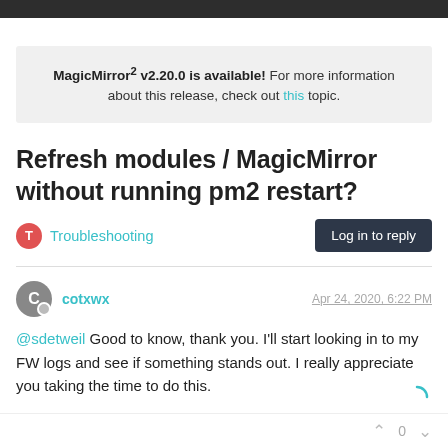MagicMirror² v2.20.0 is available! For more information about this release, check out this topic.
Refresh modules / MagicMirror without running pm2 restart?
Troubleshooting   Log in to reply
cotxwx   Apr 24, 2020, 6:22 PM
@sdetweil Good to know, thank you. I'll start looking in to my FW logs and see if something stands out. I really appreciate you taking the time to do this.